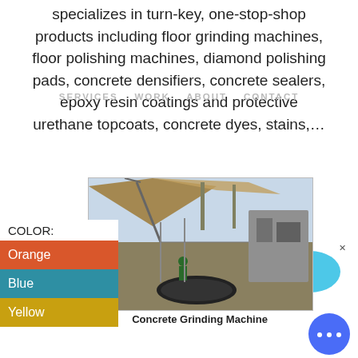specializes in turn-key, one-stop-shop products including floor grinding machines, floor polishing machines, diamond polishing pads, concrete densifiers, concrete sealers, epoxy resin coatings and protective urethane topcoats, concrete dyes, stains,...
SERVICES  WORK  ABOUT  CONTACT
[Figure (photo): Live Chat button with speech bubble icon in cyan/blue]
[Figure (photo): Outdoor construction site showing a concrete grinding machine facility with crane and large industrial equipment under a metal roof]
Concrete Grinding Machine
COLOR:
Orange
Blue
Yellow
[Figure (other): Circular chat button with ellipsis dots in blue]